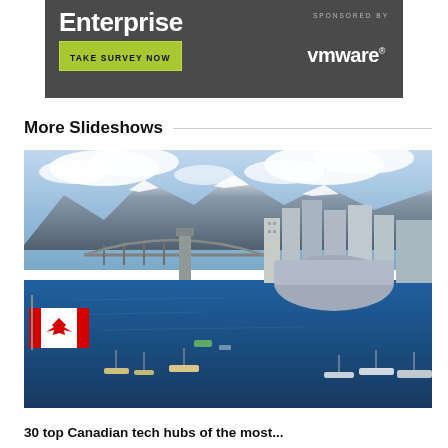[Figure (screenshot): Dark gray advertisement banner with 'Enterprise' heading, 'TAKE SURVEY NOW' green button, 'SPONSORED BY' text, and VMware logo]
More Slideshows
[Figure (photo): Aerial/waterfront view of Vancouver, Canada with Canadian flag in foreground, marina with boats, waterfront high-rise buildings, a bridge, and snow-capped mountains in background under cloudy blue sky]
30 top Canadian tech hubs of the most...